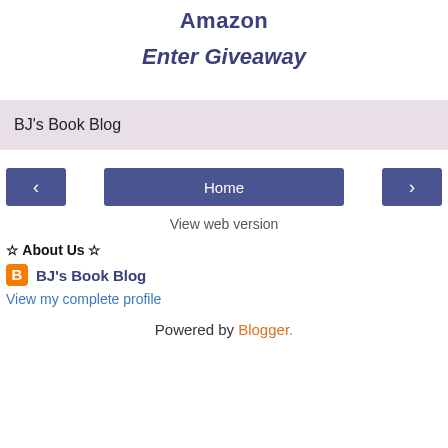Amazon
Enter Giveaway
BJ's Book Blog
< Home >
View web version
☆ About Us ☆
BJ's Book Blog
View my complete profile
Powered by Blogger.